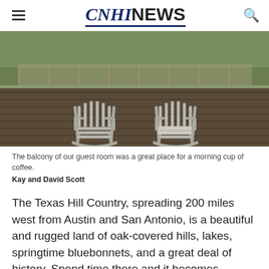CNHI NEWS
[Figure (photo): Two wooden rocking chairs on a wooden deck balcony with a scenic outdoor background of greenery and fence.]
The balcony of our guest room was a great place for a morning cup of coffee.
Kay and David Scott
The Texas Hill Country, spreading 200 miles west from Austin and San Antonio, is a beautiful and rugged land of oak-covered hills, lakes, springtime bluebonnets, and a great deal of history. Spend time there and it becomes